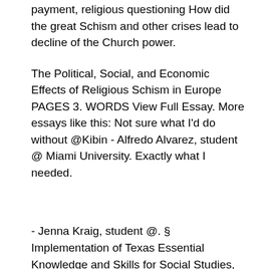payment, religious questioning How did the great Schism and other crises lead to decline of the Church power.
The Political, Social, and Economic Effects of Religious Schism in Europe PAGES 3. WORDS View Full Essay. More essays like this: Not sure what I'd do without @Kibin - Alfredo Alvarez, student @ Miami University. Exactly what I needed.
- Jenna Kraig, student @. § Implementation of Texas Essential Knowledge and Skills for Social Studies, High School, Beginning with School Year The provisions of §§ of this subchapter shall be implemented by school districts beginning with the school year.
A third political characteristic of Europe was a changing attitude towards the rest of the world. Europe was an area of expansion in the 11th to the 14th century, contrary to its previous position as a 'closed' fortress in the 9th and 10th centuries.